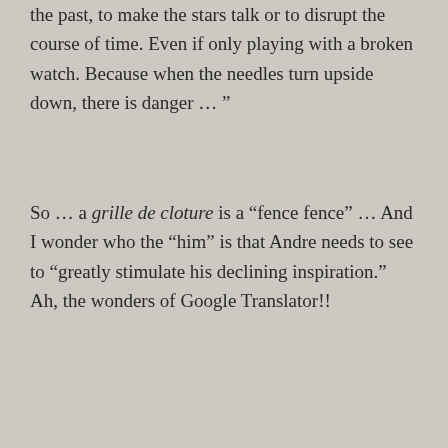the past, to make the stars talk or to disrupt the course of time. Even if only playing with a broken watch. Because when the needles turn upside down, there is danger … ”
So … a grille de cloture is a “fence fence” … And I wonder who the “him” is that Andre needs to see to “greatly stimulate his declining inspiration.” Ah, the wonders of Google Translator!!
★ Liked by 1 person
REPLY